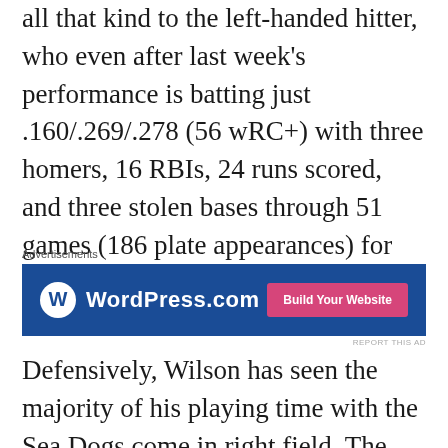all that kind to the left-handed hitter, who even after last week's performance is batting just .160/.269/.278 (56 wRC+) with three homers, 16 RBIs, 24 runs scored, and three stolen bases through 51 games (186 plate appearances) for Portland.
[Figure (other): WordPress.com advertisement banner with 'Build Your Website' button on a dark blue background]
Defensively, Wilson has seen the majority of his playing time with the Sea Dogs come in right field. The 6-foot-3, 190 pounder out of Sint Maarten has logged 310 1/3 innings in right while also making nine starts in center field and three starts in left field too.